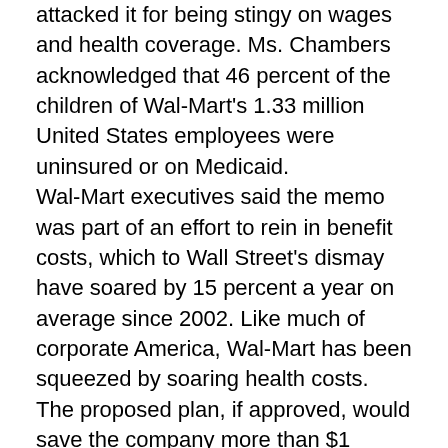attacked it for being stingy on wages and health coverage. Ms. Chambers acknowledged that 46 percent of the children of Wal-Mart's 1.33 million United States employees were uninsured or on Medicaid.
Wal-Mart executives said the memo was part of an effort to rein in benefit costs, which to Wall Street's dismay have soared by 15 percent a year on average since 2002. Like much of corporate America, Wal-Mart has been squeezed by soaring health costs. The proposed plan, if approved, would save the company more than $1 billion a year by 2011.
In an interview, Ms. Chambers said she was focusing not on cutting costs, but on serving employees better by giving them more choices on their benefits.